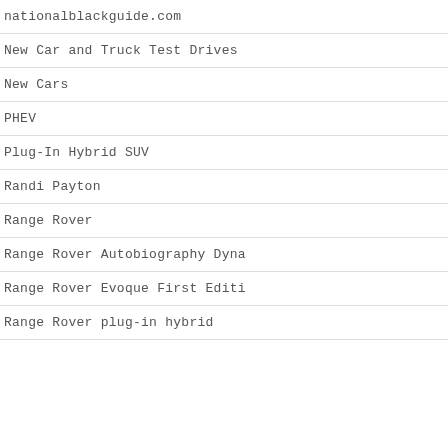nationalblackguide.com
New Car and Truck Test Drives
New Cars
PHEV
Plug-In Hybrid SUV
Randi Payton
Range Rover
Range Rover Autobiography Dyna
Range Rover Evoque First Editi
Range Rover plug-in hybrid